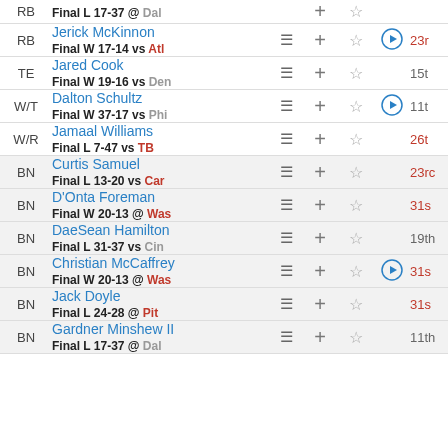| POS | Player |  | + | ★ | ▶ | Rank |
| --- | --- | --- | --- | --- | --- | --- |
| RB | Final L 17-37 @ Dal |  |  |  |  |  |
| RB | Jerick McKinnon / Final W 17-14 vs Atl |  | + | ☆ | ▶ | 23r |
| TE | Jared Cook / Final W 19-16 vs Den |  | + | ☆ |  | 15t |
| W/T | Dalton Schultz / Final W 37-17 vs Phi |  | + | ☆ | ▶ | 11t |
| W/R | Jamaal Williams / Final L 7-47 vs TB |  | + | ☆ |  | 26t |
| BN | Curtis Samuel / Final L 13-20 vs Car |  | + | ☆ |  | 23rc |
| BN | D'Onta Foreman / Final W 20-13 @ Was |  | + | ☆ |  | 31s |
| BN | DaeSean Hamilton / Final L 31-37 vs Cin |  | + | ☆ |  | 19th |
| BN | Christian McCaffrey / Final W 20-13 @ Was |  | + | ☆ | ▶ | 31s |
| BN | Jack Doyle / Final L 24-28 @ Pit |  | + | ☆ |  | 31s |
| BN | Gardner Minshew II / Final L 17-37 @ Dal |  | + | ☆ |  | 11th |